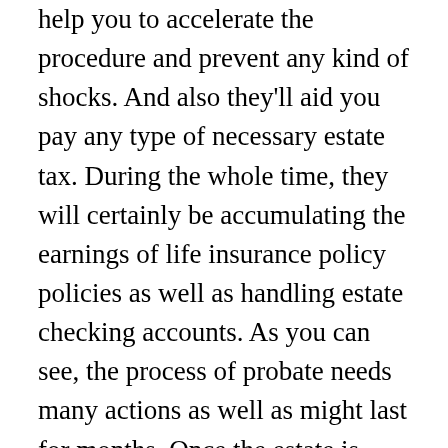help you to accelerate the procedure and prevent any kind of shocks. And also they'll aid you pay any type of necessary estate tax. During the whole time, they will certainly be accumulating the earnings of life insurance policy policies as well as handling estate checking accounts. As you can see, the process of probate needs many actions as well as might last for months. Once the estate is closed, the procedure can last months or even years. If you want to prevent this, you must collaborate with a legal representative who has experience in this field. The longer the instance takes, the even more cash you'll need to pay for their solutions. A good lawyer will certainly guarantee that everything goes efficiently and also your member of the family are offered with